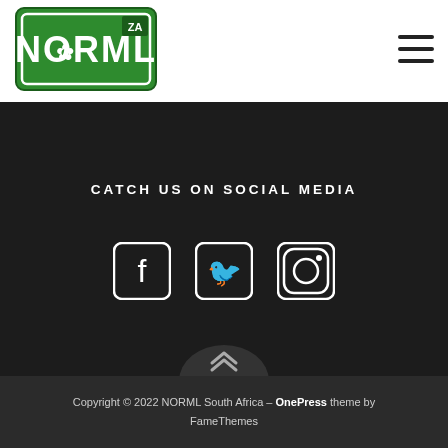[Figure (logo): NORML ZA logo — green rectangle border with NORML text and cannabis leaf, white background]
[Figure (other): Hamburger menu icon (three horizontal lines)]
CATCH US ON SOCIAL MEDIA
[Figure (other): Social media icons: Facebook, Twitter, Instagram]
Copyright © 2022 NORML South Africa – OnePress theme by FameThemes